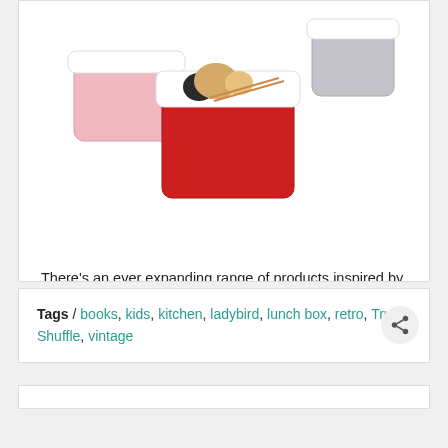[Figure (photo): Three nested Vintage Ladybird lunch boxes — a pink one on the left, a large red one in the center with a white lid featuring cats illustration, and a grey one on the right — arranged on a white background.]
There's an ever expanding range of products inspired by Ladybird books, from mugs to guides for grown-ups. Another addition is this set of Vintage Ladybird nested lunch boxes.
Read more
Tags / books, kids, kitchen, ladybird, lunch box, retro, Truff Shuffle, vintage